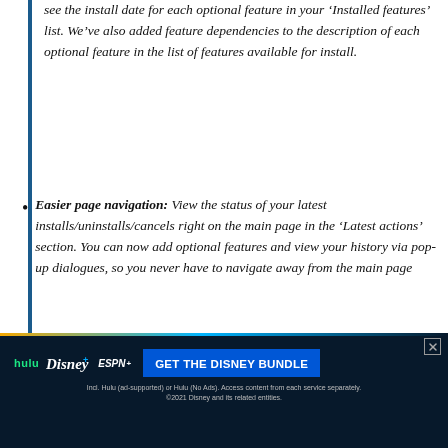see the install date for each optional feature in your ‘Installed features’ list. We’ve also added feature dependencies to the description of each optional feature in the list of features available for install.
Easier page navigation: View the status of your latest installs/uninstalls/cancels right on the main page in the ‘Latest actions’ section. You can now add optional features and view your history via pop-up dialogues, so you never have to navigate away from the main page
[Figure (other): Advertisement banner for the Disney Bundle (Hulu, Disney+, ESPN+) with 'GET THE DISNEY BUNDLE' call to action. Fine print: Incl. Hulu (ad-supported) or Hulu (No Ads). Access content from each service separately. ©2021 Disney and its related entities.]